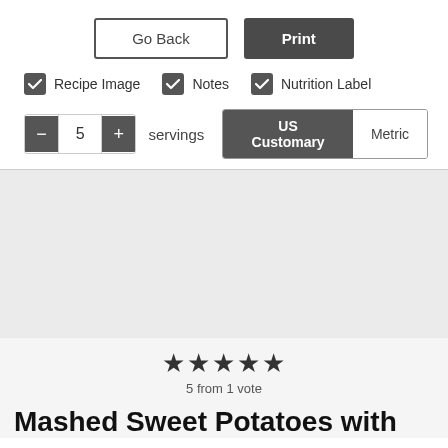Go Back | Print
✓ Recipe Image  ✓ Notes  ✓ Nutrition Label
− 5 + servings  US Customary  Metric
[Figure (other): Gray image placeholder area for recipe photo]
★★★★★
5 from 1 vote
Mashed Sweet Potatoes with